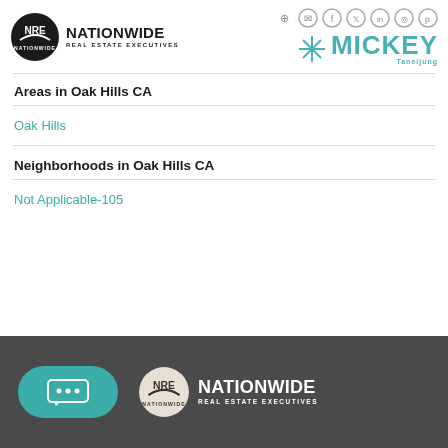[Figure (logo): Nationwide Real Estate Executives logo with circular NRE emblem and text]
[Figure (logo): Mickey Taneijung logo with teal snowflake/asterisk and bold teal MICKEY text]
Areas in Oak Hills CA
Oak Hills
Neighborhoods in Oak Hills CA
Not Applicable-105
[Figure (logo): Footer: Nationwide Real Estate Executives white logo on dark grey background with chat button]